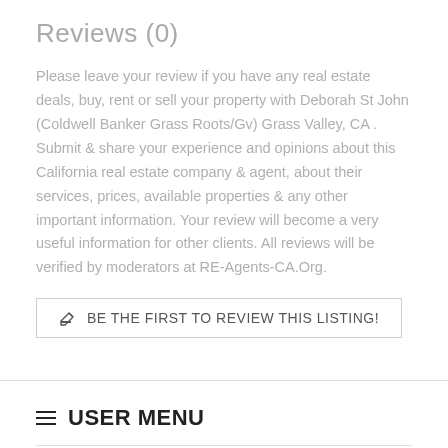Reviews (0)
Please leave your review if you have any real estate deals, buy, rent or sell your property with Deborah St John (Coldwell Banker Grass Roots/Gv) Grass Valley, CA . Submit & share your experience and opinions about this California real estate company & agent, about their services, prices, available properties & any other important information. Your review will become a very useful information for other clients. All reviews will be verified by moderators at RE-Agents-CA.Org.
BE THE FIRST TO REVIEW THIS LISTING!
USER MENU
Recently Added
Recently Updated